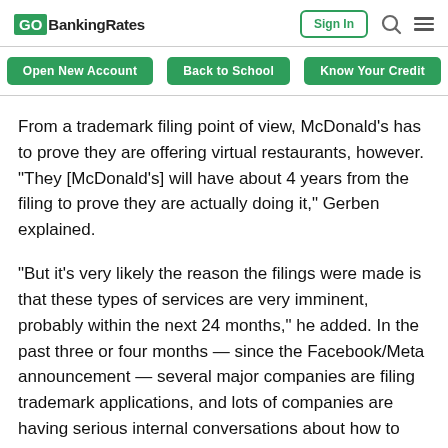GOBankingRates | Sign In
Open New Account | Back to School | Know Your Credit
From a trademark filing point of view, McDonald’s has to prove they are offering virtual restaurants, however. “They [McDonald’s] will have about 4 years from the filing to prove they are actually doing it,” Gerben explained.
“But it’s very likely the reason the filings were made is that these types of services are very imminent, probably within the next 24 months,” he added. In the past three or four months — since the Facebook/Meta announcement — several major companies are filing trademark applications, and lots of companies are having serious internal conversations about how to adapt to this.”
Bonus Offer: Find a Checking Account that Fits Your